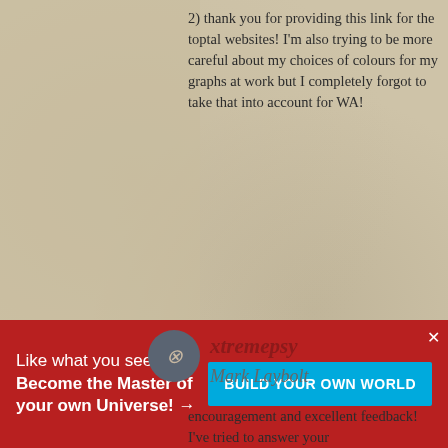2) thank you for providing this link for the toptal websites! I'm also trying to be more careful about my choices of colours for my graphs at work but I completely forgot to take that into account for WA!
To see what I am up to, see the list of my Summer Camp articles—my favourite is Sentient Cells.
xtremepsy
Mark Laybolt
Like what you see? Become the Master of your own Universe! →
BUILD YOUR OWN WORLD
encouragement and excellent feedback! I've tried to answer your